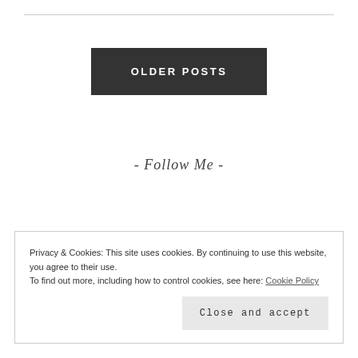OLDER POSTS
- Follow Me -
Privacy & Cookies: This site uses cookies. By continuing to use this website, you agree to their use.
To find out more, including how to control cookies, see here: Cookie Policy
Close and accept